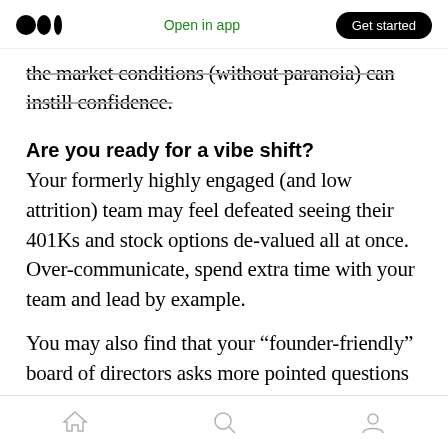Medium logo | Open in app | Get started
the market conditions (without paranoia) can instill confidence.
Are you ready for a vibe shift?
Your formerly highly engaged (and low attrition) team may feel defeated seeing their 401Ks and stock options de-valued all at once. Over-communicate, spend extra time with your team and lead by example.
You may also find that your “founder-friendly” board of directors asks more pointed questions and is less tolerant of misses.
Home | Search | Profile